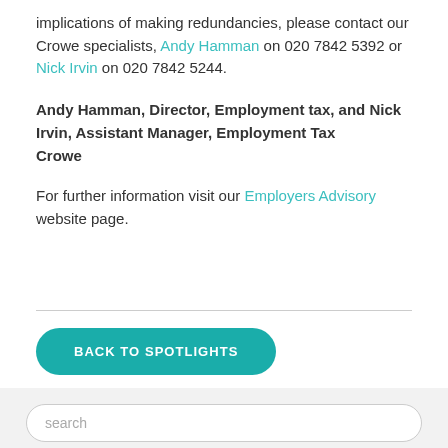implications of making redundancies, please contact our Crowe specialists, Andy Hamman on 020 7842 5392 or Nick Irvin on 020 7842 5244.
Andy Hamman, Director, Employment tax, and Nick Irvin, Assistant Manager, Employment Tax
Crowe
For further information visit our Employers Advisory website page.
BACK TO SPOTLIGHTS
search